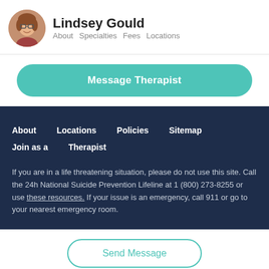Lindsey Gould — About  Specialties  Fees  Locations
Message Therapist
About  Locations  Policies  Sitemap  Join as a Therapist

If you are in a life threatening situation, please do not use this site. Call the 24h National Suicide Prevention Lifeline at 1 (800) 273-8255 or use these resources. If your issue is an emergency, call 911 or go to your nearest emergency room.
Send Message